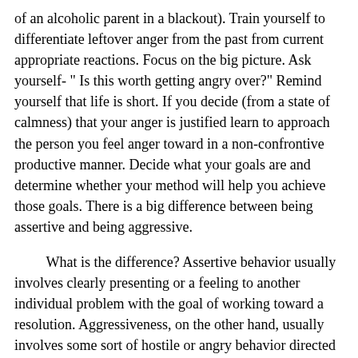of an alcoholic parent in a blackout). Train yourself to differentiate leftover anger from the past from current appropriate reactions. Focus on the big picture. Ask yourself- " Is this worth getting angry over?" Remind yourself that life is short. If you decide (from a state of calmness) that your anger is justified learn to approach the person you feel anger toward in a non-confrontive productive manner. Decide what your goals are and determine whether your method will help you achieve those goals. There is a big difference between being assertive and being aggressive.
What is the difference? Assertive behavior usually involves clearly presenting or a feeling to another individual problem with the goal of working toward a resolution. Aggressiveness, on the other hand, usually involves some sort of hostile or angry behavior directed toward another person with the goal of revenge or retribution in mind. Rarely does aggressive behavior involve feelings of wanting to reconcile or repair a relationship. Rather, aggressive behavior more often results in the intensification of angry feelings among both parties. In summary, let anger act as your ally rather than your enemy. Don't let it overwhelm you. Use it as a clue to detect unresolved issues from the past. Anger can be a useful tool in recovery if you learn to